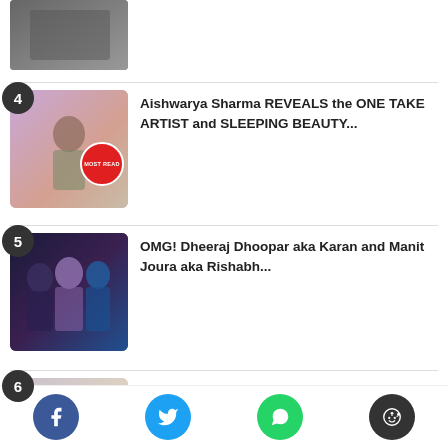[Figure (photo): Partial image of a person at top of page]
Aishwarya Sharma REVEALS the ONE TAKE ARTIST and SLEEPING BEAUTY...
OMG! Dheeraj Dhoopar aka Karan and Manit Joura aka Rishabh...
PHOTOS: Varun Dhawan and Natasha Dalal make 1st appearance in...
[Figure (photo): Social sharing buttons: Facebook, Twitter, WhatsApp, Reddit]